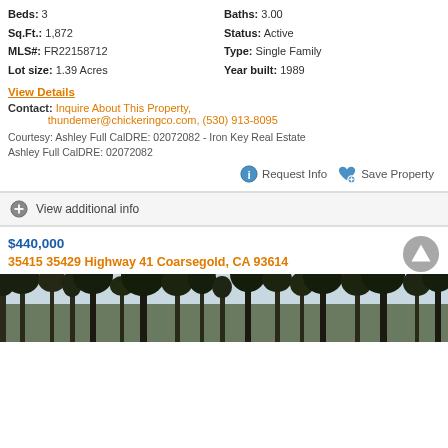Beds: 3   Baths: 3.00
Sq.Ft.: 1,872   Status: Active
MLS#: FR22158712   Type: Single Family
Lot size: 1.39 Acres   Year built: 1989
View Details
Contact: Inquire About This Property, thundemer@chickeringco.com, (530) 913-8095
Courtesy: Ashley Full CalDRE: 02072082 - Iron Key Real Estate Ashley Full CalDRE: 02072082
Request Info   Save Property
View additional info
$440,000
35415 35429 Highway 41 Coarsegold, CA 93614
[Figure (photo): Exterior photo of property showing trees and sky at 35415 35429 Highway 41 Coarsegold, CA 93614]